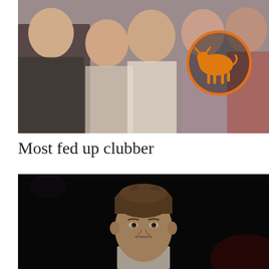[Figure (photo): Group photo of young people posing at a nightclub/party, smiling and making hand gestures. An orange bull logo in a circle is visible in the upper right corner.]
Most fed up clubber
[Figure (photo): Dark nightclub photo showing a young man with styled brown hair looking at the camera with a bored or fed-up expression. Dark background with some red lighting.]